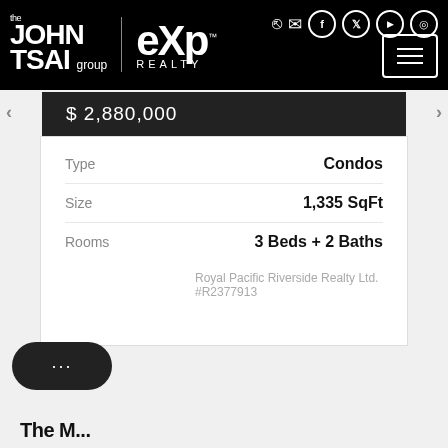the JOHN TSAI group | eXp REALTY
$ 2,880,000
| Field | Value |
| --- | --- |
| Type | Condos |
| Size | 1,335 SqFt |
| Rooms | 3 Beds + 2 Baths |
Royal Pacific Riverside Realty Ltd.
#R2377913
...
The M...